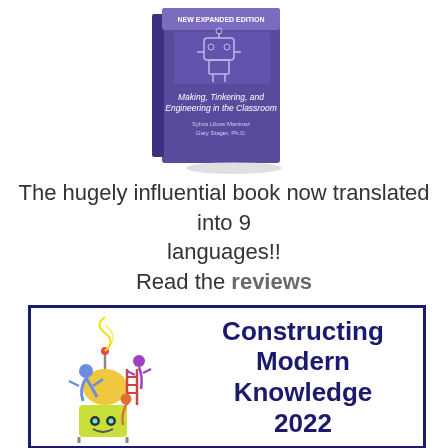[Figure (illustration): Book cover of 'Making, Tinkering, and Engineering in the Classroom' by Sylvia Libow Martinez and Gary Stager, Ph.D. — purple cover with robot imagery, labeled 'New Expanded Edition'.]
The hugely influential book now translated into 9 languages!! Read the reviews
[Figure (logo): Constructing Modern Knowledge 2022 banner with a colorful cartoon illustration of characters climbing a robot/tower structure on the left, and bold dark blue text 'Constructing Modern Knowledge 2022' on the right, inside a dark blue border rectangle.]